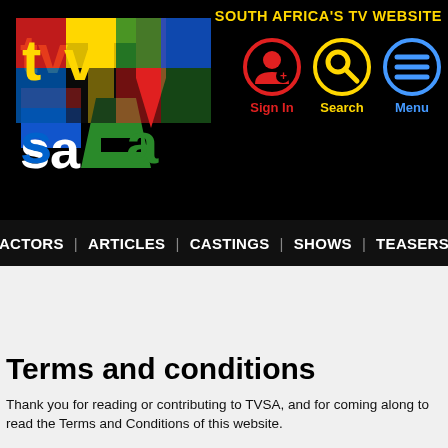SOUTH AFRICA'S TV WEBSITE
[Figure (logo): TVSA logo with colorful letters T, V, S, A on black background]
[Figure (infographic): Sign In icon - red circle with person/add symbol]
[Figure (infographic): Search icon - yellow circle with magnifying glass symbol]
[Figure (infographic): Menu icon - blue circle with three horizontal lines]
ACTORS | ARTICLES | CASTINGS | SHOWS | TEASERS
Terms and conditions
Thank you for reading or contributing to TVSA, and for coming along to read the Terms and Conditions of this website.
This is where we lay out the policies for participating in, contributing to and the reading of TVSA, as well as the Acceptable Use Policy.
General
By accessing this website, or by contracting with us, you agree to be bound by the terms and conditions of this policy, as well as any other